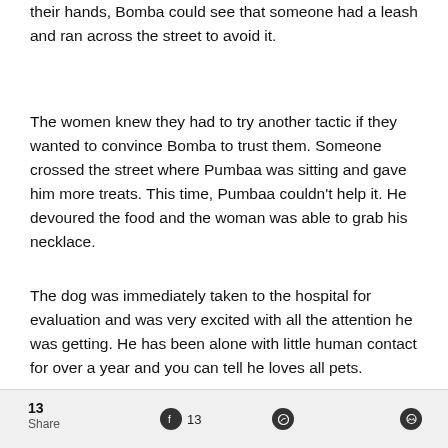their hands, Bomba could see that someone had a leash and ran across the street to avoid it.
The women knew they had to try another tactic if they wanted to convince Bomba to trust them. Someone crossed the street where Pumbaa was sitting and gave him more treats. This time, Pumbaa couldn't help it. He devoured the food and the woman was able to grab his necklace.
The dog was immediately taken to the hospital for evaluation and was very excited with all the attention he was getting. He has been alone with little human contact for over a year and you can tell he loves all pets.
13 Share  [Facebook] 13  [WhatsApp]  [Messenger]